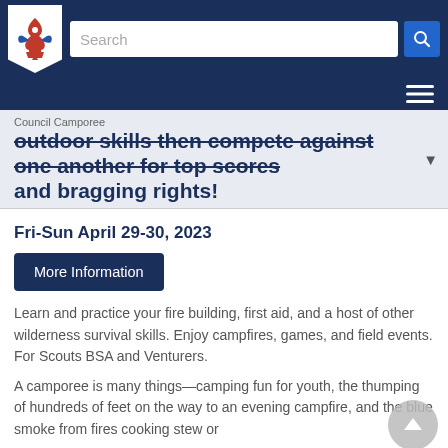BSA navigation header with logo, search bar, and hamburger menu
outdoor skills then compete against one another for top scores and bragging rights!
Council Camporee
Fri-Sun April 29-30, 2023
More Information
Learn and practice your fire building, first aid, and a host of other wilderness survival skills. Enjoy campfires, games, and field events. For Scouts BSA and Venturers.
A camporee is many things—camping fun for youth, the thumping of hundreds of feet on the way to an evening campfire, and the blue smoke from fires cooking stew or